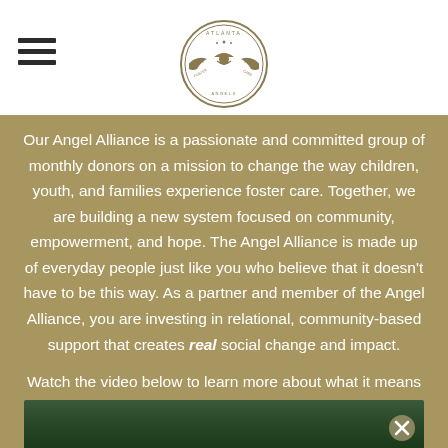Atlanta Angels logo and hamburger menu
Our Angel Alliance is a passionate and committed group of monthly donors on a mission to change the way children, youth, and families experience foster care. Together, we are building a new system focused on community, empowerment, and hope. The Angel Alliance is made up of everyday people just like you who believe that it doesn't have to be this way. As a partner and member of the Angel Alliance, you are investing in relational, community-based support that creates real social change and impact.
Watch the video below to learn more about what it means to be a part of this community.
[Figure (screenshot): Dark video thumbnail at bottom of page with a close/X button in the lower right corner]